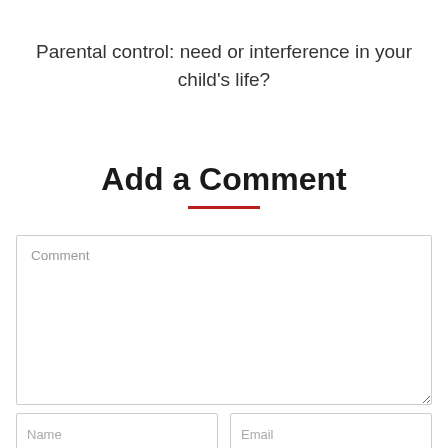Parental control: need or interference in your child's life?
Add a Comment
Comment
Name
Email